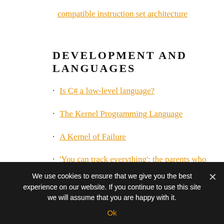compatible instruction set architecture
DEVELOPMENT AND LANGUAGES
Is C# a low-level language?
The Kernel Programming Language
A Kernel of Failure
'You can track everything': the parents who digitise their babies' lives
We use cookies to ensure that we give you the best experience on our website. If you continue to use this site we will assume that you are happy with it.
Ok